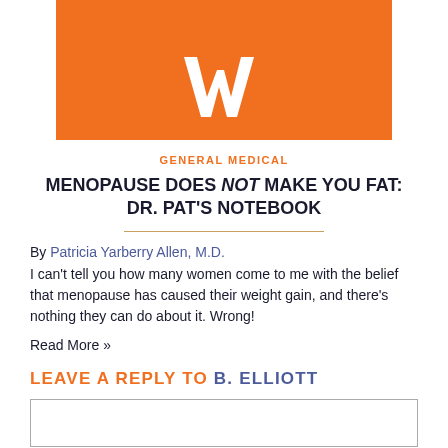[Figure (logo): Orange banner with white W logo]
GENERAL MEDICAL
MENOPAUSE DOES NOT MAKE YOU FAT: DR. PAT'S NOTEBOOK
By Patricia Yarberry Allen, M.D.
I can't tell you how many women come to me with the belief that menopause has caused their weight gain, and there's nothing they can do about it. Wrong!
Read More »
LEAVE A REPLY TO B. ELLIOTT